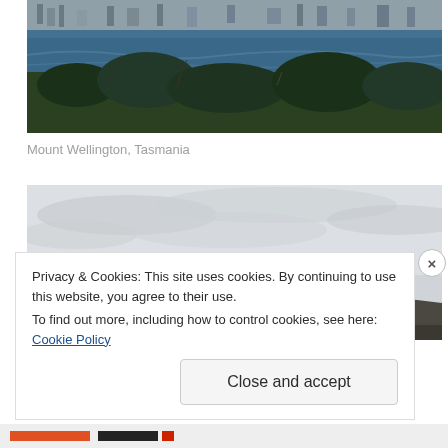[Figure (photo): Aerial view of a coastal city with a body of water and trees in the foreground, taken from Mount Wellington, Tasmania]
Mount Wellington, Tasmania
[Figure (photo): View of a mountain range silhouetted against a pale cloudy sky, seen from a distance]
Privacy & Cookies: This site uses cookies. By continuing to use this website, you agree to their use.
To find out more, including how to control cookies, see here: Cookie Policy
Close and accept